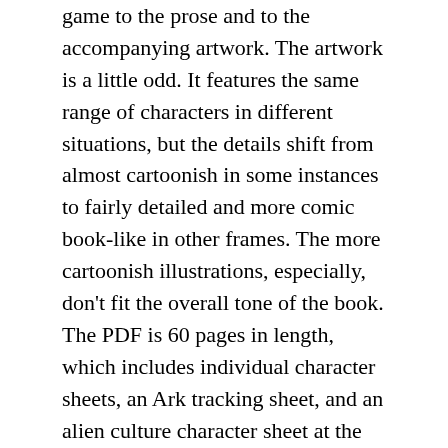game to the prose and to the accompanying artwork. The artwork is a little odd. It features the same range of characters in different situations, but the details shift from almost cartoonish in some instances to fairly detailed and more comic book-like in other frames. The more cartoonish illustrations, especially, don't fit the overall tone of the book. The PDF is 60 pages in length, which includes individual character sheets, an Ark tracking sheet, and an alien culture character sheet at the end of the book.
Introduction
This section includes the inspirations for the book, and explains how and why the book approaches some items the way it does. The setting introduces four main factions to which the player characters will belong, and introduces the idea that the campaign will take place on a world ship travelling